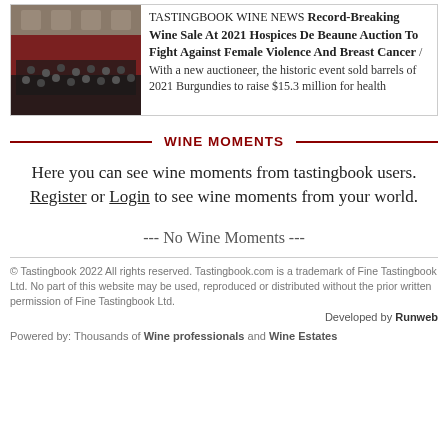[Figure (photo): Photo of a crowded formal hall/auction venue with red seating and many people in suits]
TASTINGBOOK WINE NEWS Record-Breaking Wine Sale At 2021 Hospices De Beaune Auction To Fight Against Female Violence And Breast Cancer / With a new auctioneer, the historic event sold barrels of 2021 Burgundies to raise $15.3 million for health
WINE MOMENTS
Here you can see wine moments from tastingbook users. Register or Login to see wine moments from your world.
--- No Wine Moments ---
© Tastingbook 2022 All rights reserved. Tastingbook.com is a trademark of Fine Tastingbook Ltd. No part of this website may be used, reproduced or distributed without the prior written permission of Fine Tastingbook Ltd.
Developed by Runweb
Powered by: Thousands of Wine professionals and Wine Estates